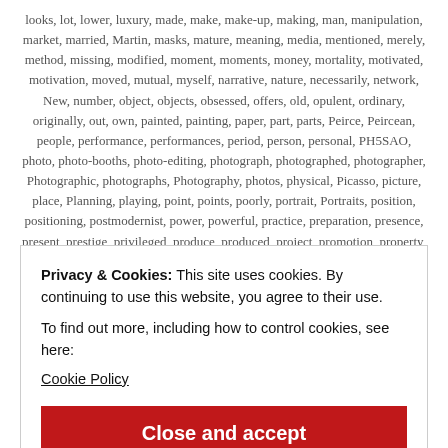looks, lot, lower, luxury, made, make, make-up, making, man, manipulation, market, married, Martin, masks, mature, meaning, media, mentioned, merely, method, missing, modified, moment, moments, money, mortality, motivated, motivation, moved, mutual, myself, narrative, nature, necessarily, network, New, number, object, objects, obsessed, offers, old, opulent, ordinary, originally, out, own, painted, painting, paper, part, parts, Peirce, Peircean, people, performance, performances, period, person, personal, PH5SAO, photo, photo-booths, photo-editing, photograph, photographed, photographer, Photographic, photographs, Photography, photos, physical, Picasso, picture, place, Planning, playing, point, points, poorly, portrait, Portraits, position, positioning, postmodernist, power, powerful, practice, preparation, presence, present, prestige, privileged, produce, produced, project, promotion, property, prosthetics, quality, question, re-photographed, re-photographing,
Privacy & Cookies: This site uses cookies. By continuing to use this website, you agree to their use. To find out more, including how to control cookies, see here: Cookie Policy
Close and accept
theory, through, time, took, touch, trace, tradition, traditional, truly, try, Tudor,